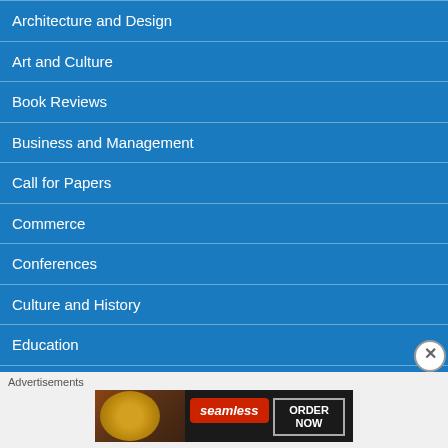Architecture and Design
Art and Culture
Book Reviews
Business and Management
Call for Papers
Commerce
Conferences
Culture and History
Education
English Literature
[Figure (screenshot): Seamless food delivery advertisement banner with pizza image, Seamless logo in red, and ORDER NOW button]
Advertisements